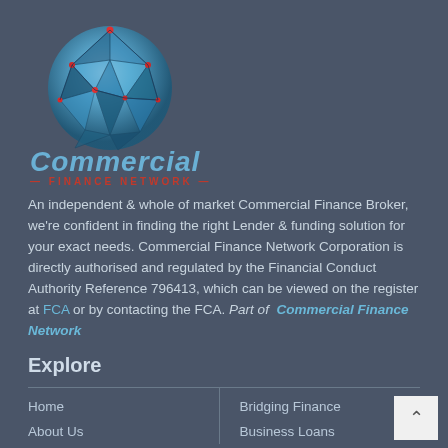[Figure (logo): Commercial Finance Network globe logo — a blue geometric sphere made of triangular facets with red dot accents]
Commercial — FINANCE NETWORK —
An independent & whole of market Commercial Finance Broker, we're confident in finding the right Lender & funding solution for your exact needs. Commercial Finance Network Corporation is directly authorised and regulated by the Financial Conduct Authority Reference 796413, which can be viewed on the register at FCA or by contacting the FCA. Part of Commercial Finance Network
Explore
Home
About Us
Bridging Finance
Business Loans